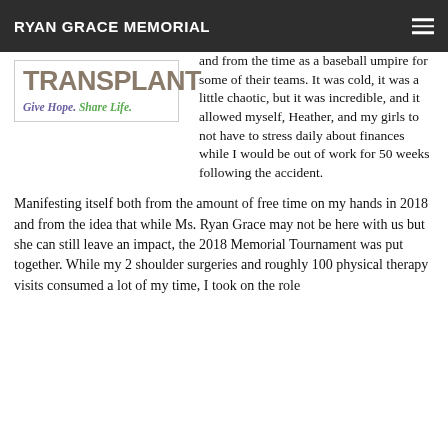RYAN GRACE MEMORIAL
[Figure (illustration): Transplant logo image with large text 'TRANSPLANT' in brown/taupe serif font and tagline 'Give Hope. Share Life.' where 'Give Hope.' is in purple and 'Share Life.' is in green]
and from the time as a baseball umpire for some of their teams. It was cold, it was a little chaotic, but it was incredible, and it allowed myself, Heather, and my girls to not have to stress daily about finances while I would be out of work for 50 weeks following the accident.
Manifesting itself both from the amount of free time on my hands in 2018 and from the idea that while Ms. Ryan Grace may not be here with us but she can still leave an impact, the 2018 Memorial Tournament was put together. While my 2 shoulder surgeries and roughly 100 physical therapy visits consumed a lot of my time, I took on the role